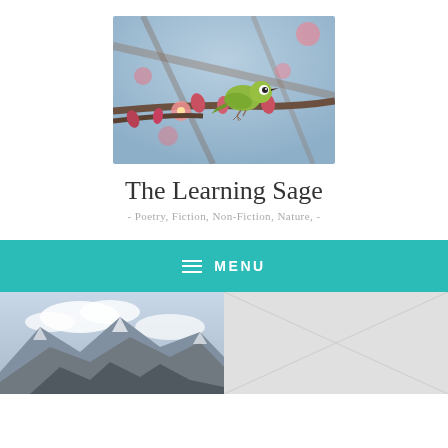[Figure (photo): A small yellow-green bird (white-eye) perched on a branch with pink blossoms against a blurred blue-grey sky background.]
The Learning Sage
- Poetry, Fiction, Non-Fiction, Nature, -
MENU
[Figure (photo): Rocky mountain peaks with clouds and snow, viewed from below.]
[Figure (photo): Light grey/white textured background image (partially visible).]